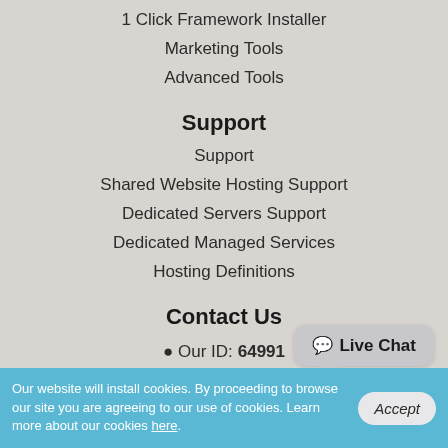1 Click Framework Installer
Marketing Tools
Advanced Tools
Support
Support
Shared Website Hosting Support
Dedicated Servers Support
Dedicated Managed Services
Hosting Definitions
Contact Us
Our ID: 64991
US: +1-855-211-0932
US: +1-727-546-HOST(4678)
UK: +44-20-3695-1294
Live Chat
Our website will install cookies. By proceeding to browse our site you are agreeing to our use of cookies. Learn more about our cookies here.